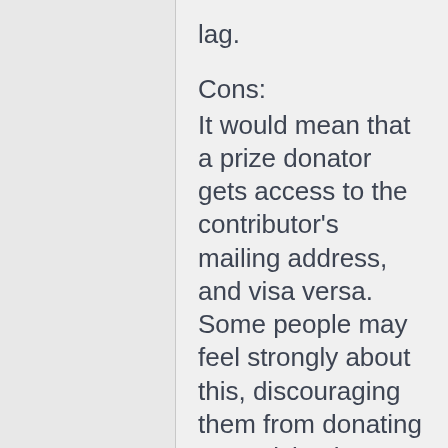lag.
Cons:
It would mean that a prize donator gets access to the contributor's mailing address, and visa versa. Some people may feel strongly about this, discouraging them from donating or participating
Flaky donators = late or no prize. (Donators